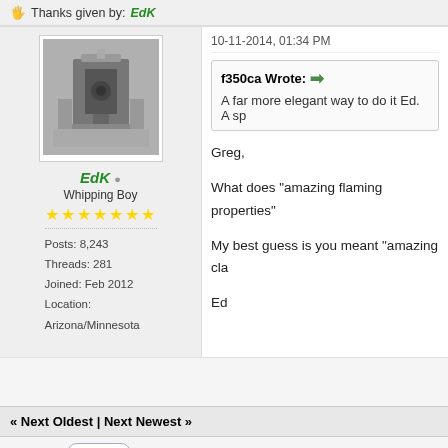Thanks given by: EdK
[Figure (photo): Avatar photo of a milling machine in a workshop]
EdK
Whipping Boy
★★★★★★★
Posts: 8,243
Threads: 281
Joined: Feb 2012
Location: Arizona/Minnesota
10-11-2014, 01:34 PM
f350ca Wrote: ➡ A far more elegant way to do it Ed. A sp
Greg,

What does "amazing flaming properties"

My best guess is you meant "amazing cla

Ed
« Next Oldest | Next Newest »
Pages (15): « Previous  1  ...  3  4  5  6  7  8  9  10  11  ...  15  N